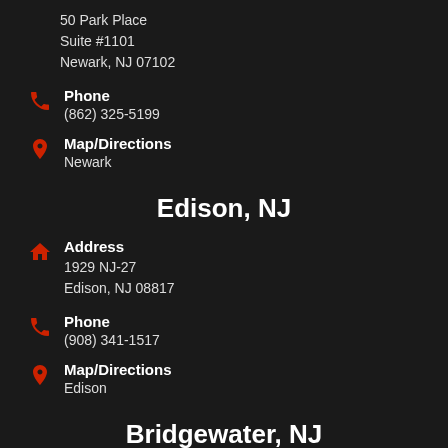50 Park Place
Suite #1101
Newark, NJ 07102
Phone
(862) 325-5199
Map/Directions
Newark
Edison, NJ
Address
1929 NJ-27
Edison, NJ 08817
Phone
(908) 341-1517
Map/Directions
Edison
Bridgewater, NJ